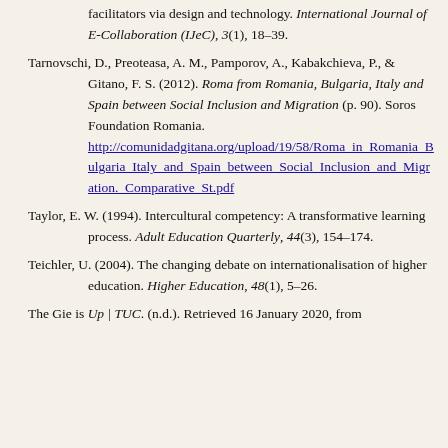facilitators via design and technology. International Journal of E-Collaboration (IJeC), 3(1), 18–39.
Tarnovschi, D., Preoteasa, A. M., Pamporov, A., Kabakchieva, P., & Gitano, F. S. (2012). Roma from Romania, Bulgaria, Italy and Spain between Social Inclusion and Migration (p. 90). Soros Foundation Romania. http://comunidadgitana.org/upload/19/58/Roma_in_Romania_Bulgaria_Italy_and_Spain_between_Social_Inclusion_and_Migration._Comparative_St.pdf
Taylor, E. W. (1994). Intercultural competency: A transformative learning process. Adult Education Quarterly, 44(3), 154–174.
Teichler, U. (2004). The changing debate on internationalisation of higher education. Higher Education, 48(1), 5–26.
The Gie is Up | TUC. (n.d.). Retrieved 16 January 2020, from